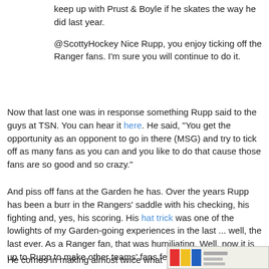keep up with Prust & Boyle if he skates the way he did last year.
@ScottyHockey Nice Rupp, you enjoy ticking off the Ranger fans. I'm sure you will continue to do it.
Now that last one was in response something Rupp said to the guys at TSN. You can hear it here. He said, "You get the opportunity as an opponent to go in there (MSG) and try to tick off as many fans as you can and you like to do that cause those fans are so good and so crazy."
And piss off fans at the Garden he has. Over the years Rupp has been a burr in the Rangers' saddle with his checking, his fighting and, yes, his scoring. His hat trick was one of the lowlights of my Garden-going experiences in the last ... well, the last ever. As a Ranger fan, that was humiliating. Well, now it is up to Rupp to make other teams' fans feel humiliated.
He comes in making almost twice what